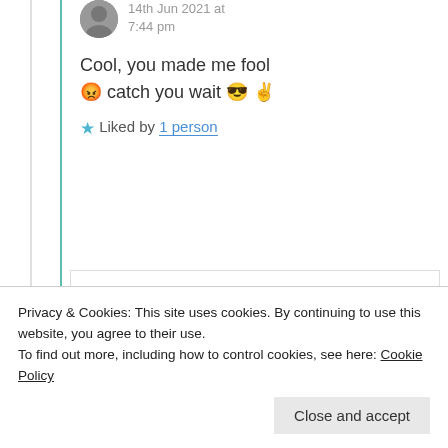14th Jun 2021 at 7:44 pm
Cool, you made me fool 😡 catch you wait 😎 ✌
⭐ Liked by 1 person
Rabia Akram
14th Jun 2021 at
Privacy & Cookies: This site uses cookies. By continuing to use this website, you agree to their use.
To find out more, including how to control cookies, see here: Cookie Policy
Close and accept